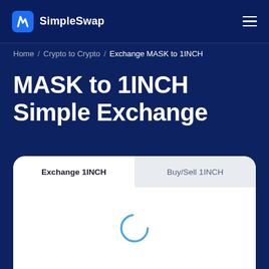SimpleSwap
Home / Crypto to Crypto / Exchange MASK to 1INCH
MASK to 1INCH Simple Exchange
[Figure (screenshot): Exchange widget card with two tabs: 'Exchange 1INCH' (active, white background) and 'Buy/Sell 1INCH' (inactive, grey background), and a loading spinner (circular arc in blue) in the center of the card body.]